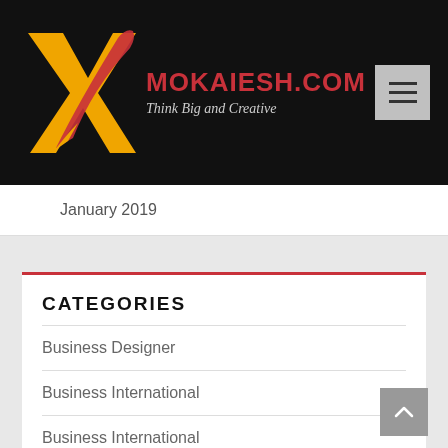[Figure (logo): Mokaiesh.com website header with logo (stylized X with rocket/arrow), site name MOKAIESH.COM in red, tagline Think Big and Creative in italic gray, and a hamburger menu button on the right, all on a black background]
January 2019
CATEGORIES
Business Designer
Business International
Business International
Business Leader
Business Opportunity
Business Overview